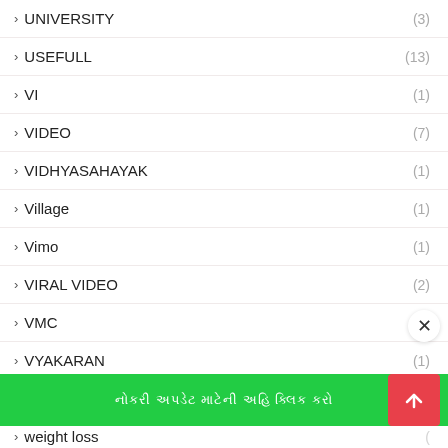› UNIVERSITY (3)
› USEFULL (13)
› VI (1)
› VIDEO (7)
› VIDHYASAHAYAK (1)
› Village (1)
› Vimo (1)
› VIRAL VIDEO (2)
› VMC (2)
› VYAKARAN (1)
› WEATHER (1)
› weight loss (1)
› WHATSAPP
× (close button)
નોકરી અપડેટ માટેની અહિ ક્લિક કરો (green banner)
↑ (scroll to top button)